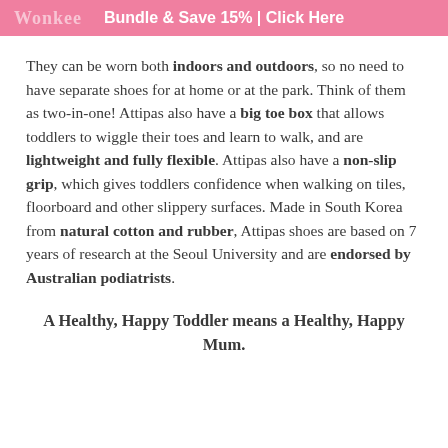Bundle & Save 15% | Click Here
They can be worn both indoors and outdoors, so no need to have separate shoes for at home or at the park. Think of them as two-in-one! Attipas also have a big toe box that allows toddlers to wiggle their toes and learn to walk, and are lightweight and fully flexible. Attipas also have a non-slip grip, which gives toddlers confidence when walking on tiles, floorboard and other slippery surfaces. Made in South Korea from natural cotton and rubber, Attipas shoes are based on 7 years of research at the Seoul University and are endorsed by Australian podiatrists.
A Healthy, Happy Toddler means a Healthy, Happy Mum.